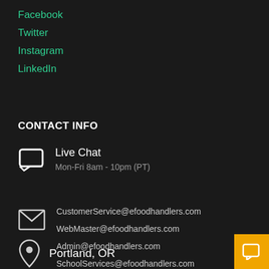Facebook
Twitter
Instagram
LinkedIn
CONTACT INFO
Live Chat
Mon-Fri 8am - 10pm (PT)
CustomerService@efoodhandlers.com
WebMaster@efoodhandlers.com
Admin@efoodhandlers.com
SchoolServices@efoodhandlers.com
BusinessServices@efoodhandlers.com
Portland, OR